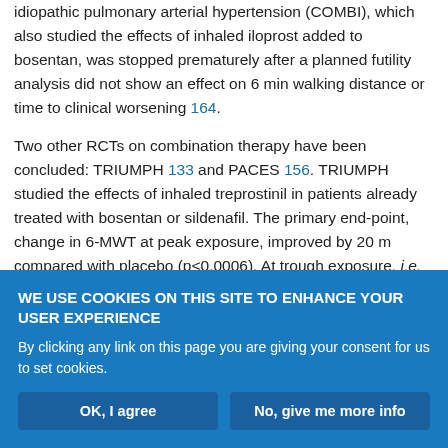idiopathic pulmonary arterial hypertension (COMBI), which also studied the effects of inhaled iloprost added to bosentan, was stopped prematurely after a planned futility analysis did not show an effect on 6 min walking distance or time to clinical worsening 164.
Two other RCTs on combination therapy have been concluded: TRIUMPH 133 and PACES 156. TRIUMPH studied the effects of inhaled treprostinil in patients already treated with bosentan or sildenafil. The primary end-point, change in 6-MWT at peak exposure, improved by 20 m compared with placebo (p<0.0006). At trough exposure, i.e. after >4 h post-inhalation, the difference was
WE USE COOKIES ON THIS SITE TO ENHANCE YOUR USER EXPERIENCE
By clicking any link on this page you are giving your consent for us to set cookies.